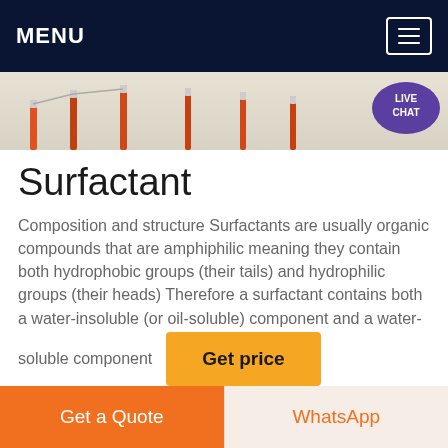MENU
[Figure (photo): Hero banner image showing a road or track with orange and white bollard poles, with a 'LIVE CHAT' speech bubble overlay in the top right corner.]
Surfactant
Composition and structure Surfactants are usually organic compounds that are amphiphilic meaning they contain both hydrophobic groups (their tails) and hydrophilic groups (their heads) Therefore a surfactant contains both a water-insoluble (or oil-soluble) component and a water-soluble component
Get price
Get a Quote
WhatsApp